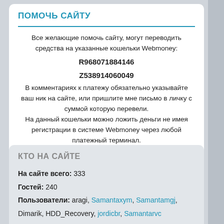ПОМОЧЬ САЙТУ
Все желающие помочь сайту, могут переводить средства на указанные кошельки Webmoney:
R968071884146
Z538914060049
В комментариях к платежу обязательно указывайте ваш ник на сайте, или пришлите мне письмо в личку с суммой которую перевели.
На данный кошельки можно ложить деньги не имея регистрации в системе Webmoney через любой платежный терминал.
КТО НА САЙТЕ
На сайте всего: 333
Гостей: 240
Пользователи: aragi, Samantaxym, Samantamgj, Dimarik, HDD_Recovery, jordicbr, Samantarvc